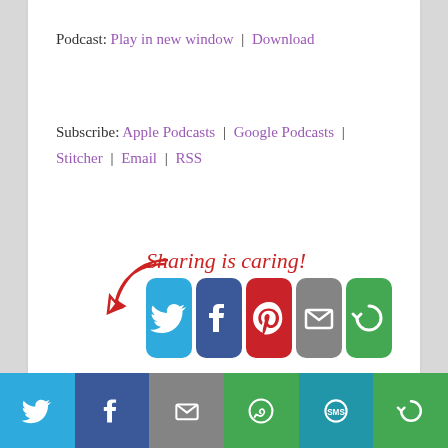Podcast: Play in new window | Download
Subscribe: Apple Podcasts | Google Podcasts | Stitcher | Email | RSS
[Figure (infographic): Sharing is caring! with arrow pointing to social share buttons: Twitter, Facebook, Pinterest, Email, and a circular arrow (roundup) button]
ITLJames
Leave a reply
[Figure (infographic): Bottom social sharing bar with Twitter, Facebook, Email, WhatsApp, SMS, and Roundup icons on colored backgrounds]